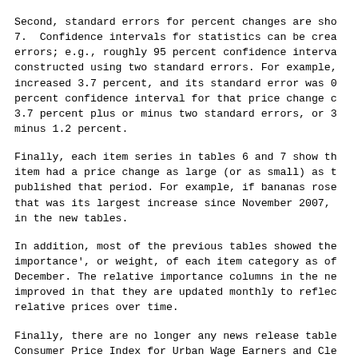Second, standard errors for percent changes are sho 7.  Confidence intervals for statistics can be crea errors; e.g., roughly 95 percent confidence interva constructed using two standard errors. For example, increased 3.7 percent, and its standard error was 0 percent confidence interval for that price change c 3.7 percent plus or minus two standard errors, or 3 minus 1.2 percent.
Finally, each item series in tables 6 and 7 show th item had a price change as large (or as small) as t published that period. For example, if bananas rose that was its largest increase since November 2007, in the new tables.
In addition, most of the previous tables showed the importance', or weight, of each item category as of December. The relative importance columns in the ne improved in that they are updated monthly to reflec relative prices over time.
Finally, there are no longer any news release table Consumer Price Index for Urban Wage Earners and Cle W). That said, the CPI-W All items index level and will still be noted in the text of the news release XLS file with CPI-W information will be available.